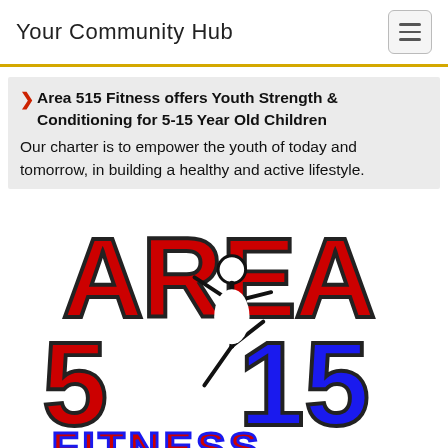Your Community Hub
Area 515 Fitness offers Youth Strength & Conditioning for 5-15 Year Old Children
Our charter is to empower the youth of today and tomorrow, in building a healthy and active lifestyle.
[Figure (logo): Area 515 Fitness logo featuring bold red letters spelling AREA above red 5 and blue 15, with a silhouette of a jumping athlete in the center, and FITNESS text at the bottom in red and blue outlined letters]